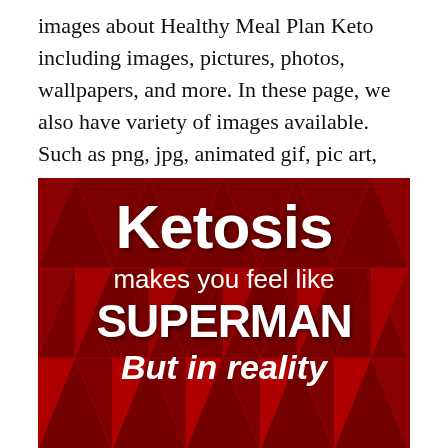images about Healthy Meal Plan Keto including images, pictures, photos, wallpapers, and more. In these page, we also have variety of images available. Such as png, jpg, animated gif, pic art, logo, black and white, transparent, etc.
[Figure (illustration): Dark red background with geometric diamond/triangle pattern. Large white bold text reads 'Ketosis' at top, then 'makes you feel like' in smaller white text, then 'SUPERMAN' in large bold white uppercase text, then 'But in reality' in white italic text. Text is partially cut off at bottom.]